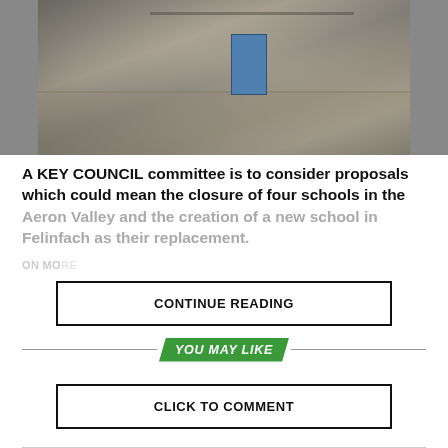[Figure (photo): Exterior photo of a stone school building with a blue door and a wooden fence/gate in the foreground, taken from a car park/road area.]
A KEY COUNCIL committee is to consider proposals which could mean the closure of four schools in the Aeron Valley and the creation of a new school in Felinfach as their replacement.
CONTINUE READING
ON MO...
YOU MAY LIKE
CLICK TO COMMENT
EDUCATION